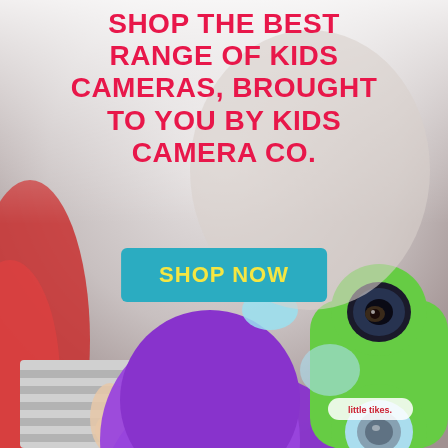[Figure (photo): A young child holding up a colorful Little Tikes toy camera (purple, green, and light blue) close to the camera lens, with the child's face partially visible behind it. The background transitions from white/gray at the top to full photo at the bottom.]
SHOP THE BEST RANGE OF KIDS CAMERAS, BROUGHT TO YOU BY KIDS CAMERA CO.
SHOP NOW